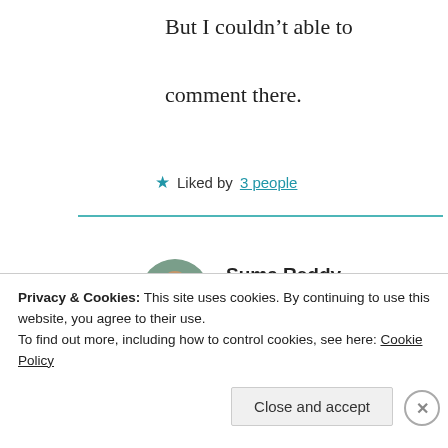But I couldn’t able to comment there.
★ Liked by 3 people
[Figure (photo): Circular avatar photo of Suma Reddy]
Suma Reddy
9th Jun 2021 at 4:42 am
No tammudu, only this
Privacy & Cookies: This site uses cookies. By continuing to use this website, you agree to their use.
To find out more, including how to control cookies, see here: Cookie Policy